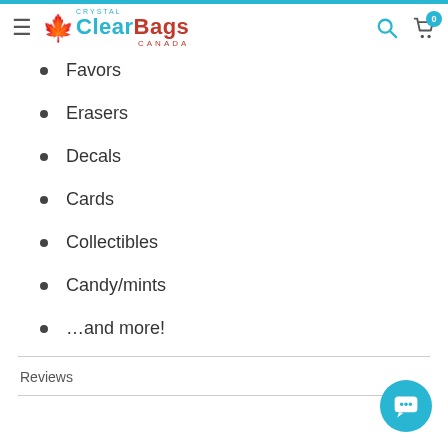Crystal ClearBags Canada navigation header
Favors
Erasers
Decals
Cards
Collectibles
Candy/mints
…and more!
Reviews